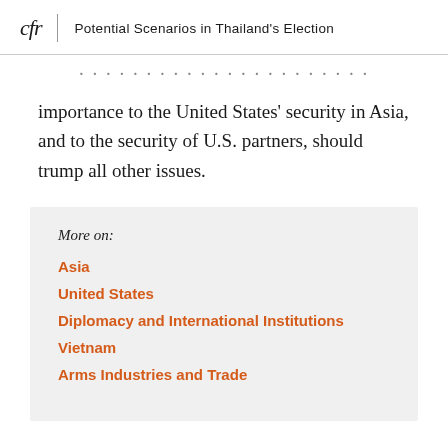cfr | Potential Scenarios in Thailand's Election
importance to the United States' security in Asia, and to the security of U.S. partners, should trump all other issues.
More on:
Asia
United States
Diplomacy and International Institutions
Vietnam
Arms Industries and Trade